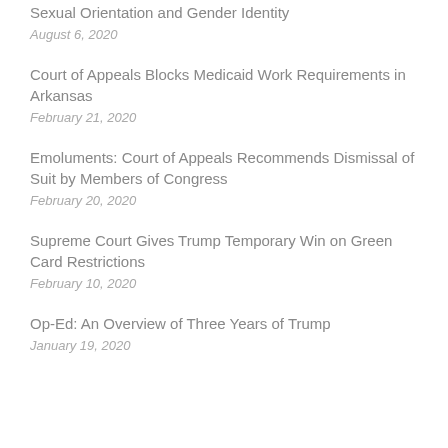Sexual Orientation and Gender Identity
August 6, 2020
Court of Appeals Blocks Medicaid Work Requirements in Arkansas
February 21, 2020
Emoluments: Court of Appeals Recommends Dismissal of Suit by Members of Congress
February 20, 2020
Supreme Court Gives Trump Temporary Win on Green Card Restrictions
February 10, 2020
Op-Ed: An Overview of Three Years of Trump
January 19, 2020